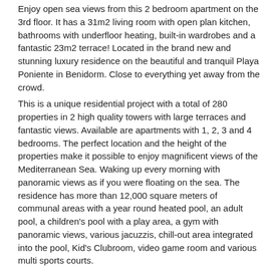Enjoy open sea views from this 2 bedroom apartment on the 3rd floor. It has a 31m2 living room with open plan kitchen, bathrooms with underfloor heating, built-in wardrobes and a fantastic 23m2 terrace! Located in the brand new and stunning luxury residence on the beautiful and tranquil Playa Poniente in Benidorm. Close to everything yet away from the crowd.
This is a unique residential project with a total of 280 properties in 2 high quality towers with large terraces and fantastic views. Available are apartments with 1, 2, 3 and 4 bedrooms. The perfect location and the height of the properties make it possible to enjoy magnificent views of the Mediterranean Sea. Waking up every morning with panoramic views as if you were floating on the sea. The residence has more than 12,000 square meters of communal areas with a year round heated pool, an adult pool, a children's pool with a play area, a gym with panoramic views, various jacuzzis, chill-out area integrated into the pool, Kid's Clubroom, video game room and various multi sports courts.